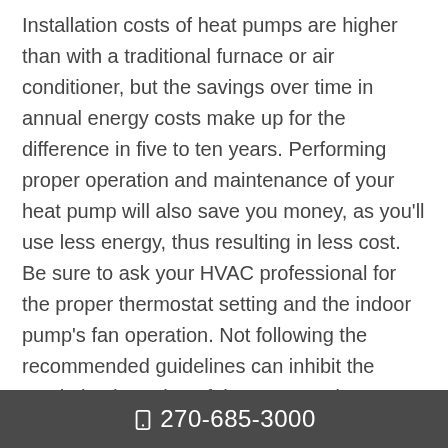Installation costs of heat pumps are higher than with a traditional furnace or air conditioner, but the savings over time in annual energy costs make up for the difference in five to ten years. Performing proper operation and maintenance of your heat pump will also save you money, as you'll use less energy, thus resulting in less cost. Be sure to ask your HVAC professional for the proper thermostat setting and the indoor pump's fan operation. Not following the recommended guidelines can inhibit the maximized running of the pump and can degrade the unit itself. Regular maintenance
270-685-3000